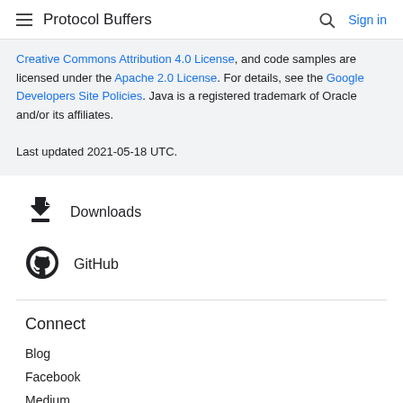Protocol Buffers
Creative Commons Attribution 4.0 License, and code samples are licensed under the Apache 2.0 License. For details, see the Google Developers Site Policies. Java is a registered trademark of Oracle and/or its affiliates.

Last updated 2021-05-18 UTC.
Downloads
GitHub
Connect
Blog
Facebook
Medium